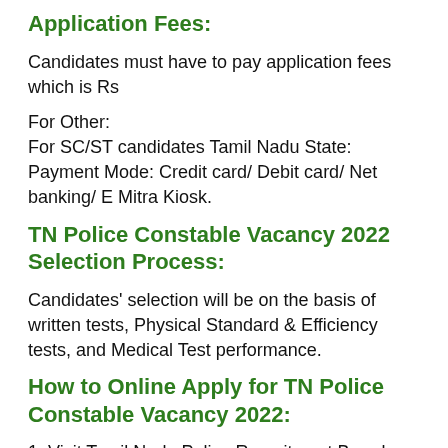Application Fees:
Candidates must have to pay application fees which is Rs
For Other:
For SC/ST candidates Tamil Nadu State:
Payment Mode: Credit card/ Debit card/ Net banking/ E Mitra Kiosk.
TN Police Constable Vacancy 2022 Selection Process:
Candidates' selection will be on the basis of written tests, Physical Standard & Efficiency tests, and Medical Test performance.
How to Online Apply for TN Police Constable Vacancy 2022:
1. Visit Tamil Nadu Police Recruitment Board online